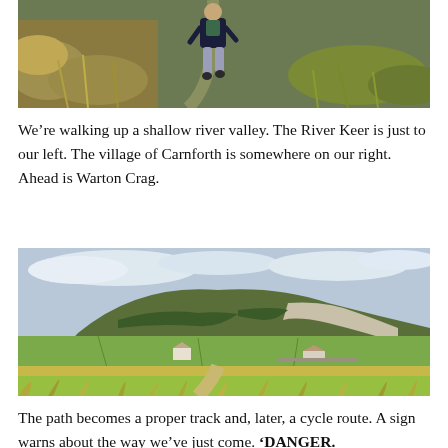[Figure (photo): Person walking down a grassy hillside path through tall wild grass, wearing dark hoodie and light grey sweatpants]
We’re walking up a shallow river valley. The River Keer is just to our left. The village of Carnforth is somewhere on our right. Ahead is Warton Crag.
[Figure (photo): Panoramic view of Warton Crag, a large limestone hill with exposed rocky face, green fields and meadows in the foreground, scattered farm buildings, and golden grass in the near foreground under a cloudy sky]
The path becomes a proper track and, later, a cycle route. A sign warns about the way we’ve just come. ‘DANGER.